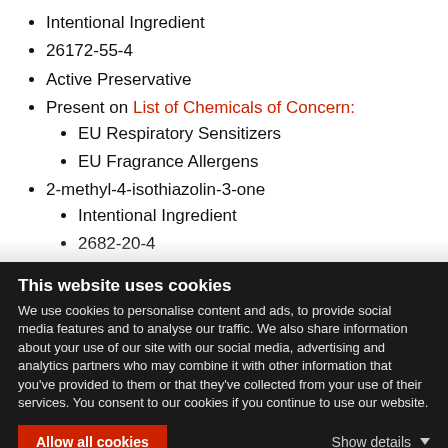Intentional Ingredient
26172-55-4
Active Preservative
Present on List of Chemicals of Concern:
EU Respiratory Sensitizers
EU Fragrance Allergens
2-methyl-4-isothiazolin-3-one
Intentional Ingredient
2682-20-4
Active Preservative (partially visible)
This website uses cookies
We use cookies to personalise content and ads, to provide social media features and to analyse our traffic. We also share information about your use of our site with our social media, advertising and analytics partners who may combine it with other information that you've provided to them or that they've collected from your use of their services. You consent to our cookies if you continue to use our website.
Allow all cookies   Show details